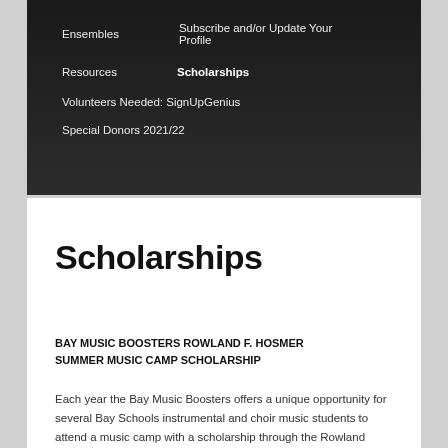Ensembles    Subscribe and/or Update Your Profile
Resources    Scholarships
Volunteers Needed: SignUpGenius
Special Donors 2021/22
Scholarships
BAY MUSIC BOOSTERS ROWLAND F. HOSMER SUMMER MUSIC CAMP SCHOLARSHIP
Each year the Bay Music Boosters offers a unique opportunity for several Bay Schools instrumental and choir music students to attend a music camp with a scholarship through the Rowland Hosmer Music Camp